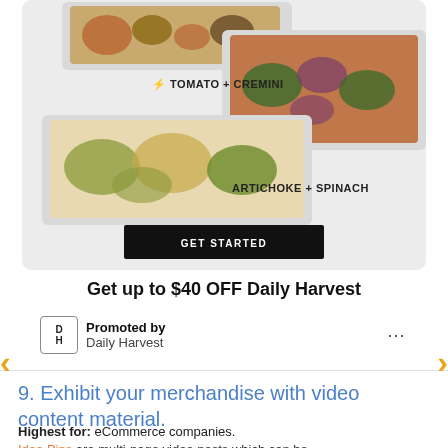[Figure (photo): Advertisement card showing flatbread pizzas with labels 'TOMATO + CREMINI' and 'ARTICHOKE + SPINACH', with a 'GET STARTED' button, navigation arrows on left and right, and 'Get up to $40 OFF Daily Harvest' promotional text with Daily Harvest logo]
Get up to $40 OFF Daily Harvest
Promoted by
Daily Harvest
9. Exhibit your merchandise with video content material.
Highest for: eCommerce companies.
Idea Pins are multi-page video posts which can be